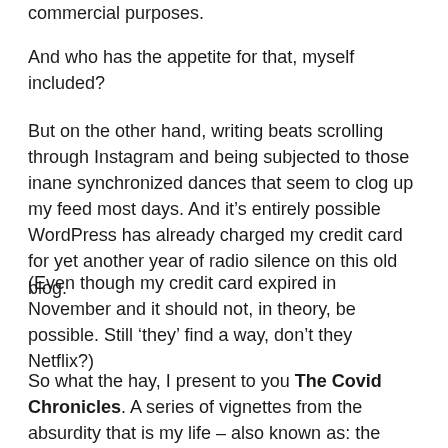commercial purposes.
And who has the appetite for that, myself included?
But on the other hand, writing beats scrolling through Instagram and being subjected to those inane synchronized dances that seem to clog up my feed most days. And it's entirely possible WordPress has already charged my credit card for yet another year of radio silence on this old blog.
(Even though my credit card expired in November and it should not, in theory, be possible. Still ‘they’ find a way, don’t they Netflix?)
So what the hay, I present to you The Covid Chronicles. A series of vignettes from the absurdity that is my life – also known as: the confluence of my implausible choices, the